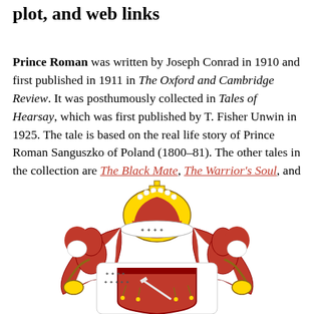plot, and web links
Prince Roman was written by Joseph Conrad in 1910 and first published in 1911 in The Oxford and Cambridge Review. It was posthumously collected in Tales of Hearsay, which was first published by T. Fisher Unwin in 1925. The tale is based on the real life story of Prince Roman Sanguszko of Poland (1800–81). The other tales in the collection are The Black Mate, The Warrior's Soul, and The Tale
[Figure (illustration): Coat of arms illustration with a royal crown at top bearing a cross, red mantling and ermine lining, two armored figures as supporters on either side holding the shield, and a red shield with a sword at the bottom center.]